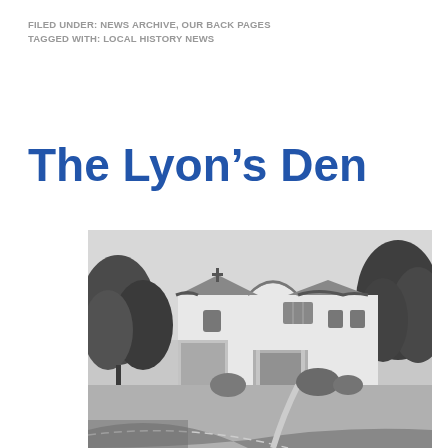FILED UNDER: NEWS ARCHIVE, OUR BACK PAGES
TAGGED WITH: LOCAL HISTORY NEWS
The Lyon’s Den
[Figure (photo): Black and white photograph of a white Spanish Mission style building with a cross on the roof, surrounded by trees, with a curved road in the foreground.]